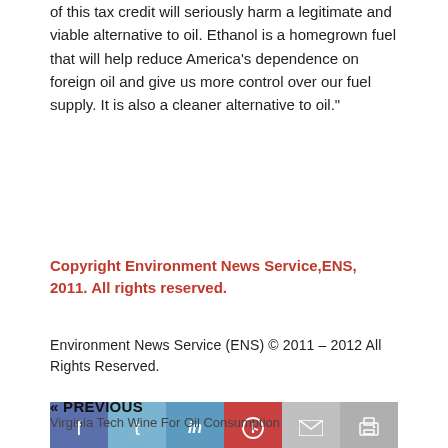of this tax credit will seriously harm a legitimate and viable alternative to oil. Ethanol is a homegrown fuel that will help reduce America’s dependence on foreign oil and give us more control over our fuel supply. It is also a cleaner alternative to oil.”
Copyright Environment News Service,ENS, 2011. All rights reserved.
Environment News Service (ENS) © 2011 – 2012 All Rights Reserved.
[Figure (infographic): Social sharing bar with icons: Facebook (blue), Twitter (light blue), LinkedIn (blue), Pinterest (red), Email (light gray), Print (gray)]
CONTINUE READING
[Figure (other): Scroll to top button with upward arrow on dark red background]
« PREVIOUS
Virginia Tech Wine For Oil Consumption